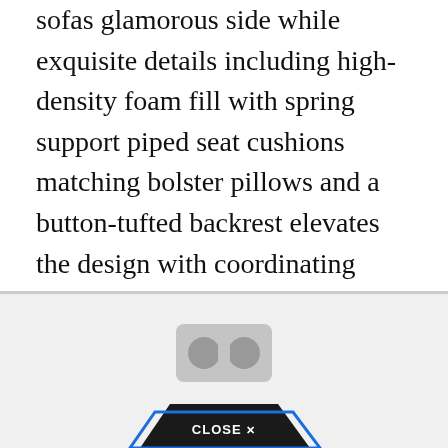sofas glamorous side while exquisite details including high-density foam fill with spring support piped seat cushions matching bolster pillows and a button-tufted backrest elevates the design with coordinating throw pillows. We promise that our luxury dining room chairs are unbeatable on both price without compromising on quality.
[Figure (screenshot): Advertisement box with a VR/cardboard viewer icon in gray and a dark 'CLOSE X' button shaped like a downward-pointing chevron/arrow at the bottom center, on a light gray background.]